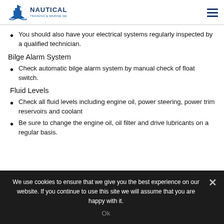Nautical Training & Marine Services
You should also have your electrical systems regularly inspected by a qualified technician.
Bilge Alarm System
Check automatic bilge alarm system by manual check of float switch.
Fluid Levels
Check all fluid levels including engine oil, power steering, power trim reservoirs and coolant
Be sure to change the engine oil, oil filter and drive lubricants on a regular basis.
We use cookies to ensure that we give you the best experience on our website. If you continue to use this site we will assume that you are happy with it.
Ok